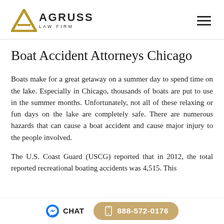Agruss Law Firm
Boat Accident Attorneys Chicago
Boats make for a great getaway on a summer day to spend time on the lake. Especially in Chicago, thousands of boats are put to use in the summer months. Unfortunately, not all of these relaxing or fun days on the lake are completely safe. There are numerous hazards that can cause a boat accident and cause major injury to the people involved.
The U.S. Coast Guard (USCG) reported that in 2012, the total reported recreational boating accidents was 4,515. This